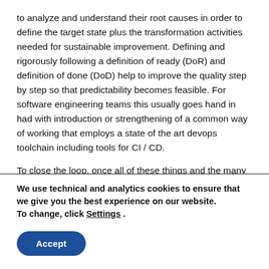to analyze and understand their root causes in order to define the target state plus the transformation activities needed for sustainable improvement. Defining and rigorously following a definition of ready (DoR) and definition of done (DoD) help to improve the quality step by step so that predictability becomes feasible. For software engineering teams this usually goes hand in had with introduction or strengthening of a common way of working that employs a state of the art devops toolchain including tools for CI / CD.

To close the loop, once all of these things and the many
We use technical and analytics cookies to ensure that we give you the best experience on our website.
To change, click Settings .